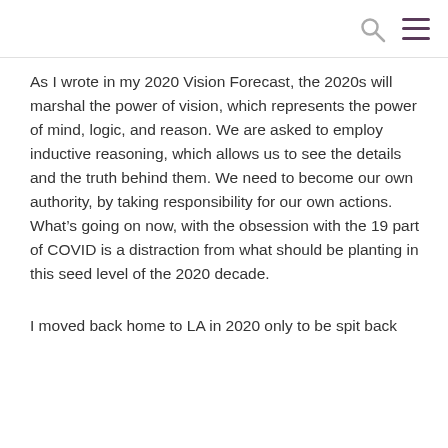As I wrote in my 2020 Vision Forecast, the 2020s will marshal the power of vision, which represents the power of mind, logic, and reason. We are asked to employ inductive reasoning, which allows us to see the details and the truth behind them. We need to become our own authority, by taking responsibility for our own actions. What's going on now, with the obsession with the 19 part of COVID is a distraction from what should be planting in this seed level of the 2020 decade.
I moved back home to LA in 2020 only to be spit back